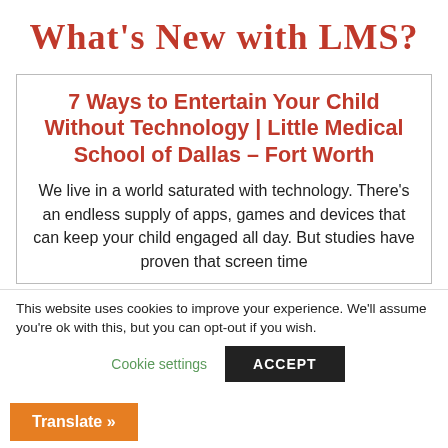What’s New with LMS?
7 Ways to Entertain Your Child Without Technology | Little Medical School of Dallas – Fort Worth
We live in a world saturated with technology. There’s an endless supply of apps, games and devices that can keep your child engaged all day. But studies have proven that screen time
This website uses cookies to improve your experience. We’ll assume you’re ok with this, but you can opt-out if you wish.
Cookie settings
ACCEPT
Translate »